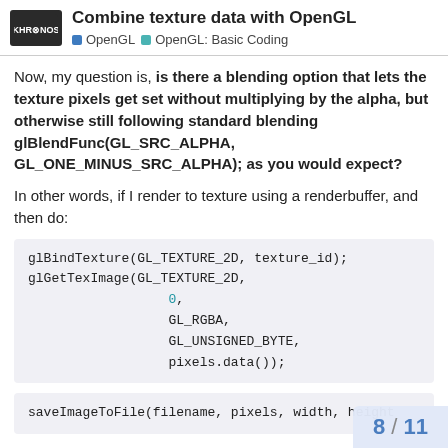Combine texture data with OpenGL — OpenGL | OpenGL: Basic Coding
Now, my question is, is there a blending option that lets the texture pixels get set without multiplying by the alpha, but otherwise still following standard blending glBlendFunc(GL_SRC_ALPHA, GL_ONE_MINUS_SRC_ALPHA); as you would expect?
In other words, if I render to texture using a renderbuffer, and then do:
glBindTexture(GL_TEXTURE_2D, texture_id);
glGetTexImage(GL_TEXTURE_2D,
              0,
              GL_RGBA,
              GL_UNSIGNED_BYTE,
              pixels.data());
saveImageToFile(filename, pixels, width, height
I want the pixels of that texture to be their o
8 / 11